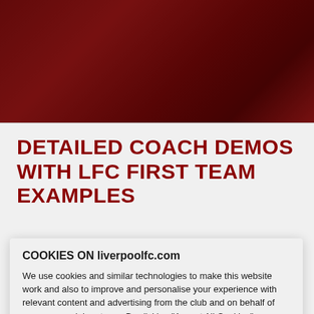[Figure (photo): Photo of a person in a red Liverpool FC kit, darkened/cropped, used as a decorative header image strip.]
DETAILED COACH DEMOS WITH LFC FIRST TEAM EXAMPLES
LFC eAcademy boasts a library of 55 skill tutorials which span seven categories. Boasting in-depth coaching demonstrations
COOKIES ON liverpoolfc.com
We use cookies and similar technologies to make this website work and also to improve and personalise your experience with relevant content and advertising from the club and on behalf of our commercial partners. By clicking "Accept All Cookies", you agree to their use in line with our Cookie Policy. You can switch off non essential cookies using "Manage Settings" but this may affect the functionality of the website and any personalisation of content.
Cookie Policy